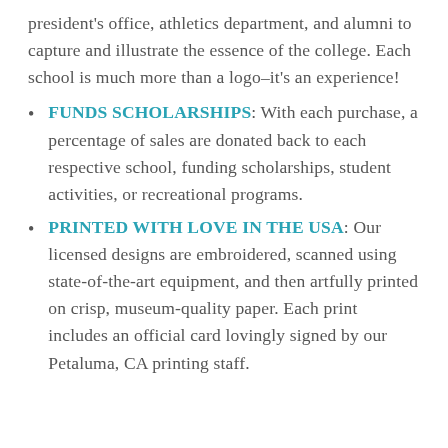president's office, athletics department, and alumni to capture and illustrate the essence of the college. Each school is much more than a logo–it's an experience!
FUNDS SCHOLARSHIPS: With each purchase, a percentage of sales are donated back to each respective school, funding scholarships, student activities, or recreational programs.
PRINTED WITH LOVE IN THE USA: Our licensed designs are embroidered, scanned using state-of-the-art equipment, and then artfully printed on crisp, museum-quality paper. Each print includes an official card lovingly signed by our Petaluma, CA printing staff.